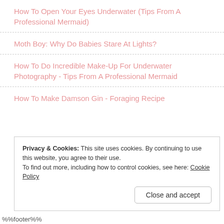How To Open Your Eyes Underwater (Tips From A Professional Mermaid)
Moth Boy: Why Do Babies Stare At Lights?
How To Do Incredible Make-Up For Underwater Photography - Tips From A Professional Mermaid
How To Make Damson Gin - Foraging Recipe
Privacy & Cookies: This site uses cookies. By continuing to use this website, you agree to their use.
To find out more, including how to control cookies, see here: Cookie Policy
Close and accept
%%footer%%